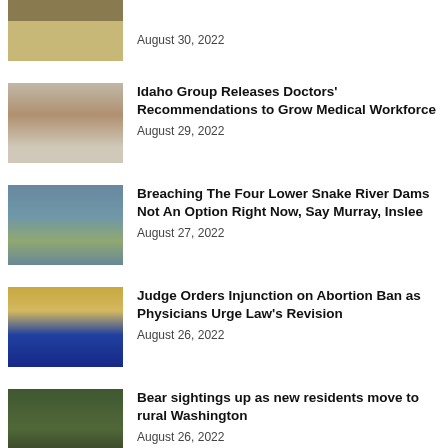[Figure (photo): Partial news item image at top, partially cropped animal/landscape photo]
August 30, 2022
[Figure (photo): Person with medical equipment, ultrasound or monitoring device]
Idaho Group Releases Doctors' Recommendations to Grow Medical Workforce
August 29, 2022
[Figure (photo): Aerial view of a dam on a river]
Breaching The Four Lower Snake River Dams Not An Option Right Now, Say Murray, Inslee
August 27, 2022
[Figure (photo): State capitol rotunda with a blue state flag draped over the floor]
Judge Orders Injunction on Abortion Ban as Physicians Urge Law's Revision
August 26, 2022
[Figure (photo): Bear walking in green forest undergrowth]
Bear sightings up as new residents move to rural Washington
August 26, 2022